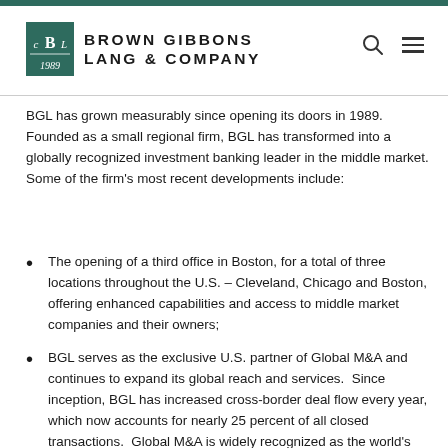Brown Gibbons Lang & Company
BGL has grown measurably since opening its doors in 1989. Founded as a small regional firm, BGL has transformed into a globally recognized investment banking leader in the middle market. Some of the firm's most recent developments include:
The opening of a third office in Boston, for a total of three locations throughout the U.S. – Cleveland, Chicago and Boston, offering enhanced capabilities and access to middle market companies and their owners;
BGL serves as the exclusive U.S. partner of Global M&A and continues to expand its global reach and services.  Since inception, BGL has increased cross-border deal flow every year, which now accounts for nearly 25 percent of all closed transactions.  Global M&A is widely recognized as the world's leading partnership of